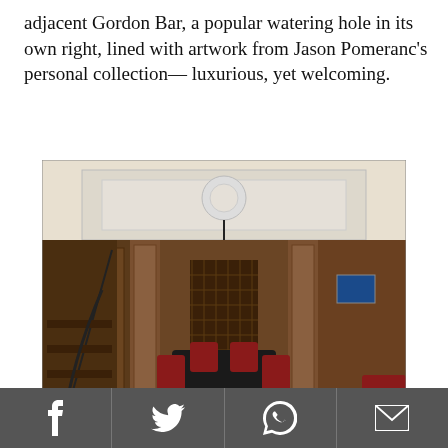adjacent Gordon Bar, a popular watering hole in its own right, lined with artwork from Jason Pomeranc's personal collection— luxurious, yet welcoming.
[Figure (photo): Interior of the Gordon Bar at the Marlton Hotel: wood-paneled walls, dark dining table with red leather chairs, blue tufted sofa in foreground, wine rack and staircase visible, modern pendant light fixture on coffered ceiling.]
Photo courtesy of the Marlton Hotel
Social share icons: Facebook, Twitter, WhatsApp, Email